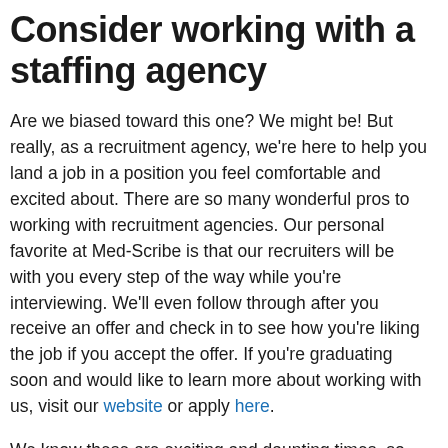Consider working with a staffing agency
Are we biased toward this one? We might be! But really, as a recruitment agency, we're here to help you land a job in a position you feel comfortable and excited about. There are so many wonderful pros to working with recruitment agencies. Our personal favorite at Med-Scribe is that our recruiters will be with you every step of the way while you're interviewing. We'll even follow through after you receive an offer and check in to see how you're liking the job if you accept the offer. If you're graduating soon and would like to learn more about working with us, visit our website or apply here.
We know these are exciting and daunting times, so hang in there! The healthcare industry is hungrier than ever for new hires, so rest assured that you'll find a good fit!